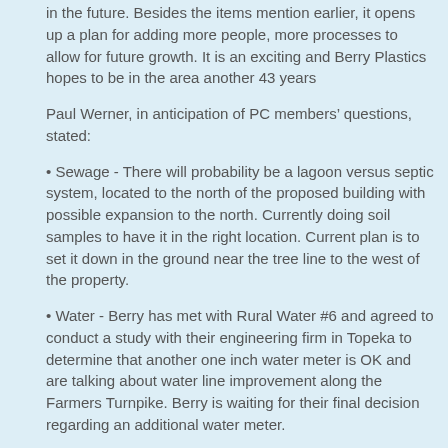in the future. Besides the items mention earlier, it opens up a plan for adding more people, more processes to allow for future growth. It is an exciting and Berry Plastics hopes to be in the area another 43 years
Paul Werner, in anticipation of PC members’ questions, stated:
Sewage - There will probability be a lagoon versus septic system, located to the north of the proposed building with possible expansion to the north. Currently doing soil samples to have it in the right location. Current plan is to set it down in the ground near the tree line to the west of the property.
Water - Berry has met with Rural Water #6 and agreed to conduct a study with their engineering firm in Topeka to determine that another one inch water meter is OK and are talking about water line improvement along the Farmers Turnpike. Berry is waiting for their final decision regarding an additional water meter.
Road - Farmers Turnpike has had substantial improvements over the past 2-3 years and the road is sufficient for the traffic, most of which will to from the proposed site to the Lecompton Turnpike Exchange.